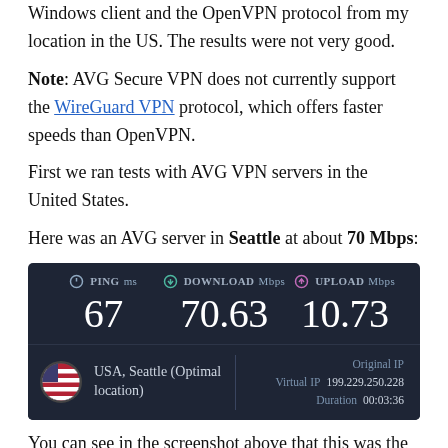Windows client and the OpenVPN protocol from my location in the US. The results were not very good.
Note: AVG Secure VPN does not currently support the WireGuard VPN protocol, which offers faster speeds than OpenVPN.
First we ran tests with AVG VPN servers in the United States.
Here was an AVG server in Seattle at about 70 Mbps:
[Figure (screenshot): Speed test screenshot showing PING: 67 ms, DOWNLOAD: 70.63 Mbps, UPLOAD: 10.73 Mbps. Location: USA, Seattle (Optimal location). Virtual IP: 199.229.250.228, Duration: 00:03:36]
You can see in the screenshot above that this was the "Optimal location" closest to my physical location. It